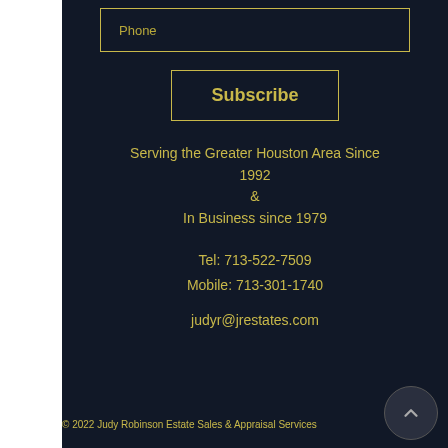Phone
Subscribe
Serving the Greater Houston Area Since 1992 & In Business since 1979
Tel: 713-522-7509
Mobile: 713-301-1740
judyr@jrestates.com
© 2022 Judy Robinson Estate Sales & Appraisal Services